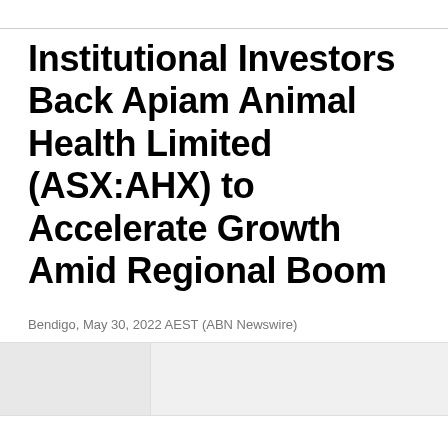Institutional Investors Back Apiam Animal Health Limited (ASX:AHX) to Accelerate Growth Amid Regional Boom
Bendigo, May 30, 2022 AEST (ABN Newswire)
[Figure (photo): A two-panel image strip partially visible at the bottom of the page, with a darker left panel and lighter right panel.]